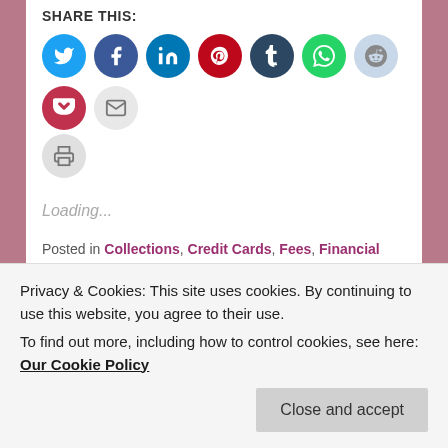SHARE THIS:
[Figure (infographic): Row of social media sharing icon circles: Twitter (blue), Facebook (dark blue), LinkedIn (teal), Pinterest (red), Tumblr (dark navy), WhatsApp (green), Reddit (light blue), Pocket (red), Email (light gray), Print (light gray)]
Loading...
Posted in Collections, Credit Cards, Fees, Financial Management, Office Systems, Technology | Tagged 2017 ABA TECHSHOW, ABA TECHSHOW, apps for stopping spam, Beverly Michaelis, Calendaring, Credit Cards, delivery tracking, Dropbox, email, emojis, encryption, Evernote, File Sharing, Google Apps, messaging,
Privacy & Cookies: This site uses cookies. By continuing to use this website, you agree to their use.
To find out more, including how to control cookies, see here: Our Cookie Policy